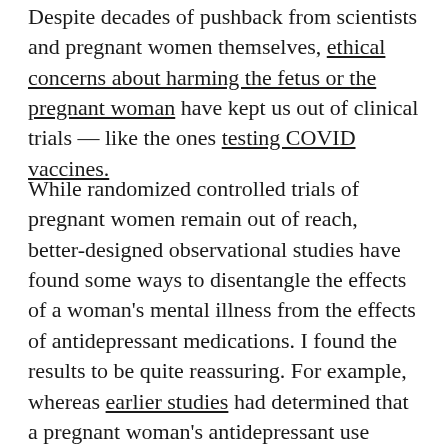Despite decades of pushback from scientists and pregnant women themselves, ethical concerns about harming the fetus or the pregnant woman have kept us out of clinical trials — like the ones testing COVID vaccines.
While randomized controlled trials of pregnant women remain out of reach, better-designed observational studies have found some ways to disentangle the effects of a woman's mental illness from the effects of antidepressant medications. I found the results to be quite reassuring. For example, whereas earlier studies had determined that a pregnant woman's antidepressant use seemed to increase the risk of autism in her child, when researchers, including Vigod, conducted a study that accounted for potential confounding factors —